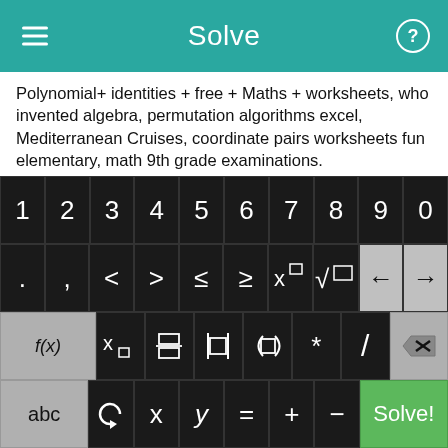Solve
Polynomial+ identities + free + Maths + worksheets, who invented algebra, permutation algorithms excel, Mediterranean Cruises, coordinate pairs worksheets fun elementary, math 9th grade examinations.
Electrical exam india question answer, Ohio Art Education, String Literal.
Slope intercept worksheets, Solving Equations Involving Rational Exponents, Solve scale factor problems using ratios and
[Figure (screenshot): Math keyboard with number row 1-9,0; operator row with .,<>≤≥ x^□ √□ and arrow keys; function row with f(x), x subscript, fraction, absolute value, parentheses, *, /, delete; bottom row with abc, rotation symbol, x, y, =, +, -, Solve! button]